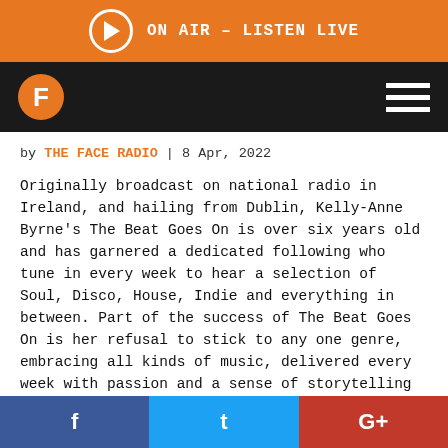ON AIR – LISTEN LIVE
[Figure (logo): The Face Radio logo - black nav bar with orange F circle logo and hamburger menu]
by THE FACE RADIO | 8 Apr, 2022
Originally broadcast on national radio in Ireland, and hailing from Dublin, Kelly-Anne Byrne's The Beat Goes On is over six years old and has garnered a dedicated following who tune in every week to hear a selection of Soul, Disco, House, Indie and everything in between. Part of the success of The Beat Goes On is her refusal to stick to any one genre, embracing all kinds of music, delivered every week with passion and a sense of storytelling around the records.
Kelly-Anne DJ's regularly at Dublin's top clubs such as Mother and The Workman's, she has also headlined many
f  t  G+